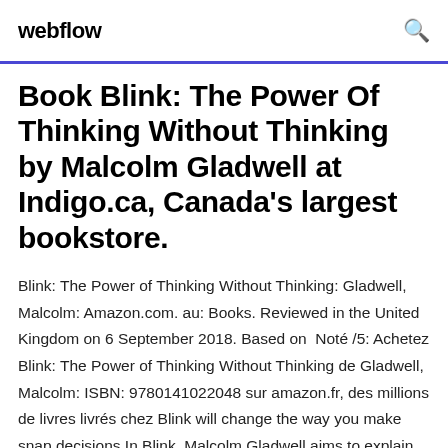webflow
Book Blink: The Power Of Thinking Without Thinking by Malcolm Gladwell at Indigo.ca, Canada's largest bookstore.
Blink: The Power of Thinking Without Thinking: Gladwell, Malcolm: Amazon.com. au: Books. Reviewed in the United Kingdom on 6 September 2018. Based on  Noté /5: Achetez Blink: The Power of Thinking Without Thinking de Gladwell, Malcolm: ISBN: 9780141022048 sur amazon.fr, des millions de livres livrés chez Blink will change the way you make snap decisions In Blink, Malcolm Gladwell aims to explain the hidden factors that shape our